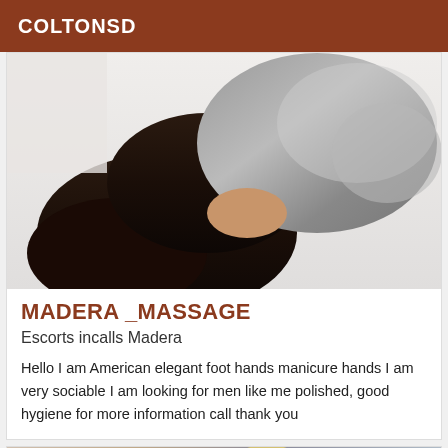COLTONSD
[Figure (photo): Close-up photo of a person's legs in dark stockings with a grey/silver wrapped skirt, lying on white bedding.]
MADERA _MASSAGE
Escorts incalls Madera
Hello I am American elegant foot hands manicure hands I am very sociable I am looking for men like me polished, good hygiene for more information call thank you
[Figure (photo): Partial view of a second listing card showing a blonde woman, with a brown 'Verified' badge in the top-left corner.]